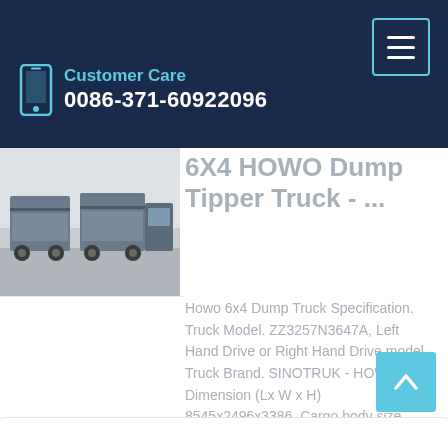Customer Care
0086-371-60922096
6X4 HOWO Dump Tipper Truck - ...
[Figure (photo): Rear view of HOWO dump tipper trucks in a yard]
Howo 6x4 Dump Truck Specification. Truck Model. ZZ3257N3647A, Left Hand Drive or Right Hand Drive model. Truck Brand. SINOTRUK - HOWO. Dimension (Lx W x H) 8545x2496x3386. Cargo body size (L*W*H, mm) 5800x2300x1400.
Learn More